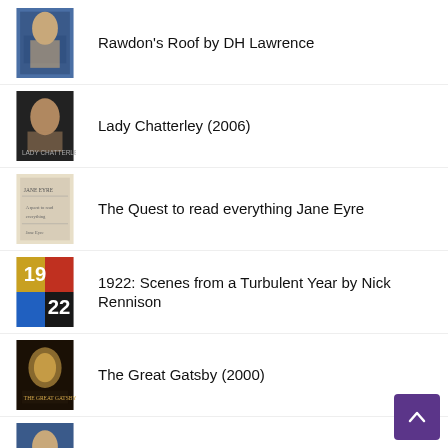Rawdon's Roof by DH Lawrence
Lady Chatterley (2006)
The Quest to read everything Jane Eyre
1922: Scenes from a Turbulent Year by Nick Rennison
The Great Gatsby (2000)
The Lovely Lady by DH Lawrence
Opera Chats: Rigoletto (Bregenzer Festspiele, 2019)